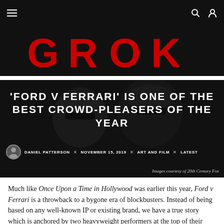Navigation bar with hamburger menu, search and user icons
[Figure (logo): GROK logo in bold red letters on black background]
[Figure (photo): Dark hero image with two men wearing sunglasses and hats, overlaid with article title and metadata. Title: 'FORD V FERRARI' IS ONE OF THE BEST CROWD-PLEASERS OF THE YEAR. Byline: DANIEL PATTERSON × NOVEMBER 15, 2019 × ART AND FILM × LATEST. Caption: Images courtesy of 20th Century Fox]
Much like Once Upon a Time in Hollywood was earlier this year, Ford v Ferrari is a throwback to a bygone era of blockbusters. Instead of being based on any well-known IP or existing brand, we have a true story which is anchored by two heavyweight performers at the top of their respective